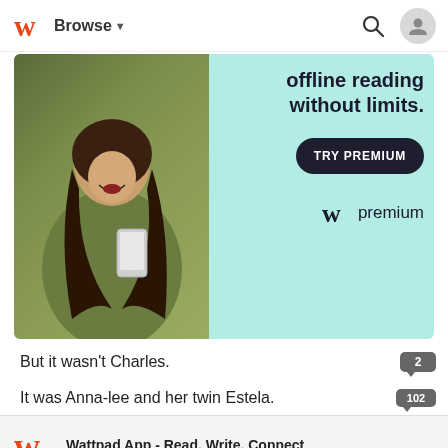Browse
[Figure (screenshot): Wattpad Premium advertisement banner showing a woman laughing and holding a phone, with text 'offline reading without limits.' and a 'TRY PREMIUM' button, and the Wattpad Premium logo]
But it wasn't Charles.
It was Anna-lee and her twin Estela.
Wattpad App - Read, Write, Connect
Start Reading
Log in with Browser